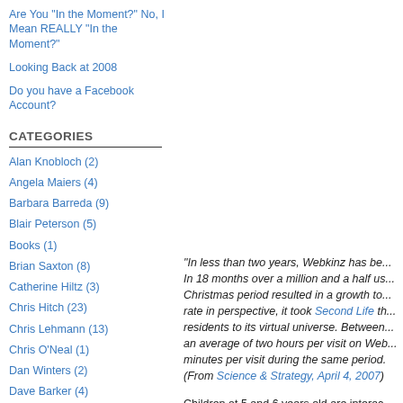Are You "In the Moment?" No, I Mean REALLY "In the Moment?"
Looking Back at 2008
Do you have a Facebook Account?
CATEGORIES
Alan Knobloch (2)
Angela Maiers (4)
Barbara Barreda (9)
Blair Peterson (5)
Books (1)
Brian Saxton (8)
Catherine Hiltz (3)
Chris Hitch (23)
Chris Lehmann (13)
Chris O'Neal (1)
Dan Winters (2)
Dave Barker (4)
Dave Dimmett (1)
"In less than two years, Webkinz has be... In 18 months over a million and a half us... Christmas period resulted in a growth to... rate in perspective, it took Second Life th... residents to its virtual universe. Between... an average of two hours per visit on Web... minutes per visit during the same period... (From Science & Strategy, April 4, 2007)
Children at 5 and 6 years old are interac... skills such as money management, resp...